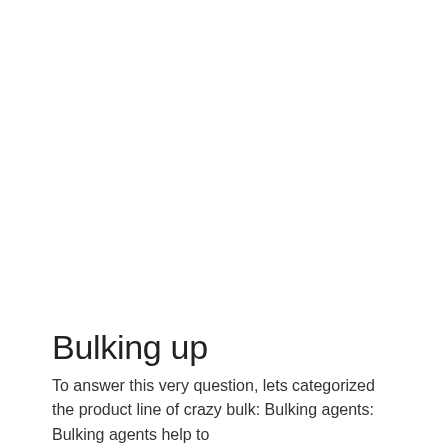Bulking up
To answer this very question, lets categorized the product line of crazy bulk: Bulking agents: Bulking agents help to